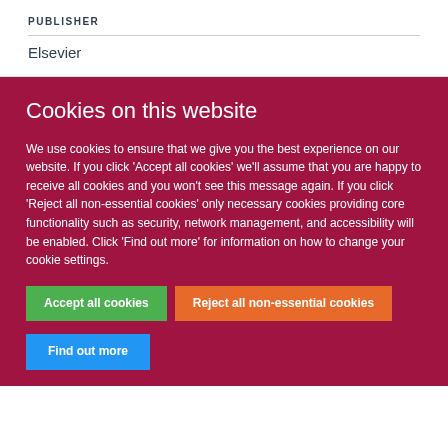PUBLISHER
Elsevier
Cookies on this website
We use cookies to ensure that we give you the best experience on our website. If you click 'Accept all cookies' we'll assume that you are happy to receive all cookies and you won't see this message again. If you click 'Reject all non-essential cookies' only necessary cookies providing core functionality such as security, network management, and accessibility will be enabled. Click 'Find out more' for information on how to change your cookie settings.
Accept all cookies
Reject all non-essential cookies
Find out more